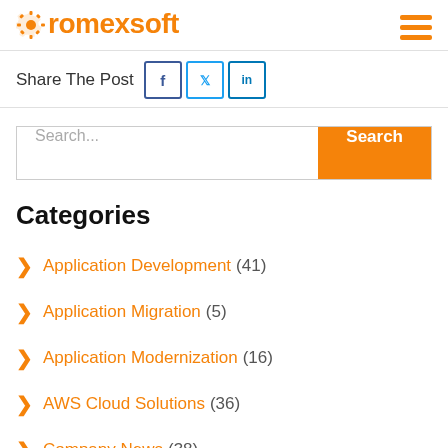romexsoft
Share The Post
Categories
Application Development (41)
Application Migration (5)
Application Modernization (16)
AWS Cloud Solutions (36)
Company News (38)